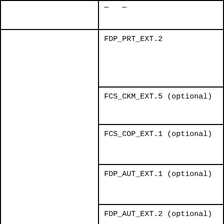|  | (partial top row content) |
|  | FDP_PRT_EXT.2 |
|  | FCS_CKM_EXT.5 (optional) |
|  | FCS_COP_EXT.1 (optional) |
|  | FDP_AUT_EXT.1 (optional) |
|  | FDP_AUT_EXT.2 (optional) |